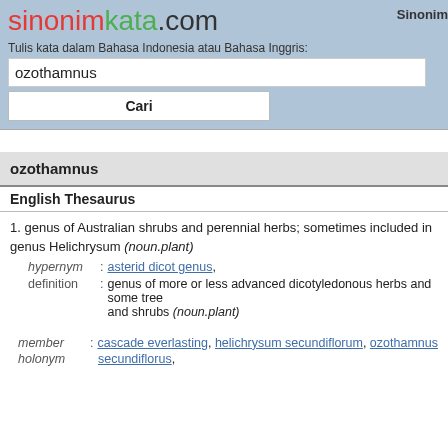sinonimkata.com   Sinonim
Tulis kata dalam Bahasa Indonesia atau Bahasa Inggris:
ozothamnus
Cari
ozothamnus
English Thesaurus
1. genus of Australian shrubs and perennial herbs; sometimes included in genus Helichrysum (noun.plant)
hypernym : asterid dicot genus,
definition : genus of more or less advanced dicotyledonous herbs and some trees and shrubs (noun.plant)
member : cascade everlasting, helichrysum secundiflorum, ozothamnus
holonym   secundiflorus,